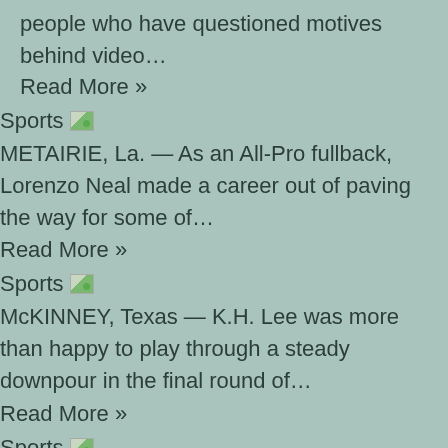people who have questioned motives behind video…
Read More »
Sports
METAIRIE, La. — As an All-Pro fullback, Lorenzo Neal made a career out of paving the way for some of…
Read More »
Sports
McKINNEY, Texas — K.H. Lee was more than happy to play through a steady downpour in the final round of…
Read More »
Sports